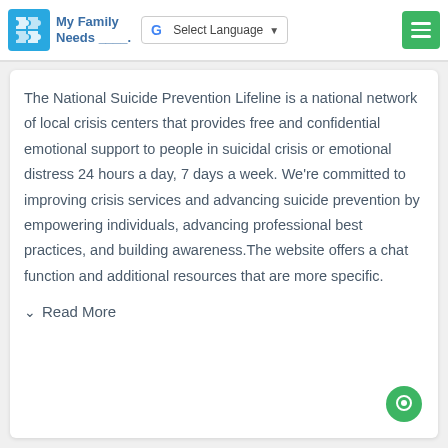My Family Needs ____. | Select Language | (menu)
The National Suicide Prevention Lifeline is a national network of local crisis centers that provides free and confidential emotional support to people in suicidal crisis or emotional distress 24 hours a day, 7 days a week. We're committed to improving crisis services and advancing suicide prevention by empowering individuals, advancing professional best practices, and building awareness.The website offers a chat function and additional resources that are more specific.
Read More